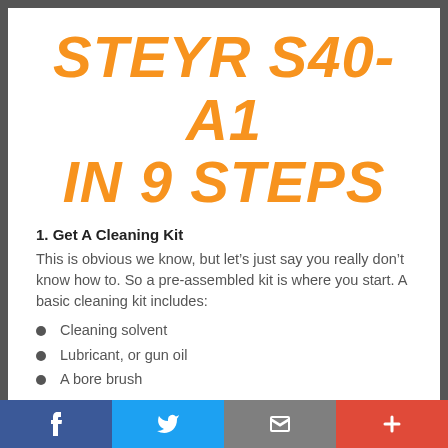STEYR S40-A1 IN 9 STEPS
1. Get A Cleaning Kit
This is obvious we know, but let’s just say you really don’t know how to. So a pre-assembled kit is where you start. A basic cleaning kit includes:
Cleaning solvent
Lubricant, or gun oil
A bore brush